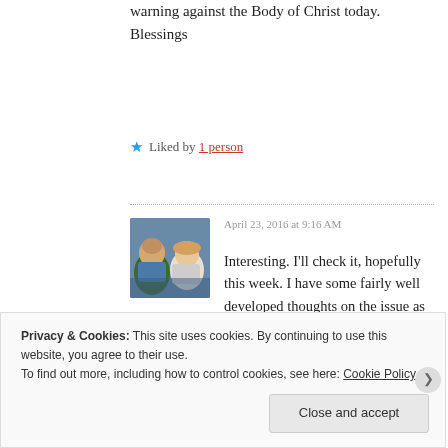warning against the Body of Christ today.
Blessings
Liked by 1 person
[Figure (photo): Profile photo of a couple, man in blue plaid shirt and woman with blonde hair, outdoors with greenery background]
April 23, 2016 at 9:16 AM
★ Sola Scriptura
Interesting. I'll check it, hopefully this week. I have some fairly well developed thoughts on the issue as well, and recently changed from what I thought was an immovable position...
Privacy & Cookies: This site uses cookies. By continuing to use this website, you agree to their use.
To find out more, including how to control cookies, see here: Cookie Policy